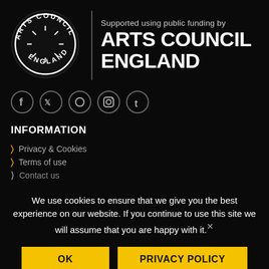[Figure (logo): Arts Council England circular logo with text arranged in a circle on black background]
Supported using public funding by ARTS COUNCIL ENGLAND
[Figure (infographic): Social media icons row: Facebook, Twitter, Pinterest, Instagram, Tumblr — white circle outlines on black]
INFORMATION
Privacy & Cookies
Terms of use
Contact us
We use cookies to ensure that we give you the best experience on our website. If you continue to use this site we will assume that you are happy with it.
OK
PRIVACY POLICY